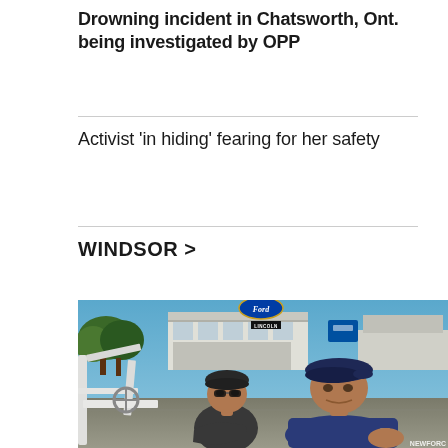Drowning incident in Chatsworth, Ont. being investigated by OPP
Activist 'in hiding' fearing for her safety
WINDSOR >
[Figure (photo): Two men seated in what appears to be a boat or convertible vehicle in a Ford/Lincoln dealership parking lot. The man on the left wears a dark cap and dark shirt; the older man on the right wears a dark flat cap and navy shirt with a watch. A Ford logo and Lincoln sign are visible on a building in the background, along with trees and a blue sky.]